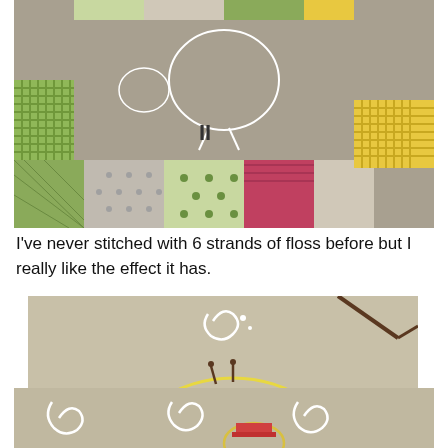[Figure (photo): Top portion of a quilted fabric piece with patchwork border in green, yellow, pink/red, and gray fabrics. The center gray area shows white embroidered bird designs.]
I've never stitched with 6 strands of floss before but I really like the effect it has.
[Figure (photo): Close-up embroidery on tan/beige fabric showing a decorative bird with yellow outline stitching, a red circular collar, brown legs with forked feet, and curling decorative swirl patterns. A branch is visible in upper right.]
[Figure (photo): Partial view of another embroidered bird scene on tan fabric, showing white spiral/swirl decorative elements and the top of a bird figure.]